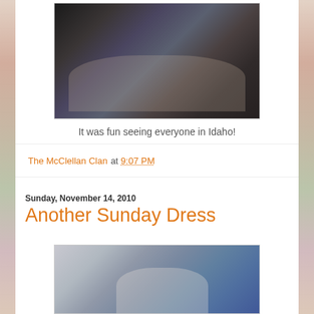[Figure (photo): Group family photo showing a woman and several children sitting together on a dark couch/chair, smiling at camera]
It was fun seeing everyone in Idaho!
The McClellan Clan at 9:07 PM
Sunday, November 14, 2010
Another Sunday Dress
[Figure (photo): Young woman with dark hair sitting in a blue chair holding a baby dressed in white with a pink bow]